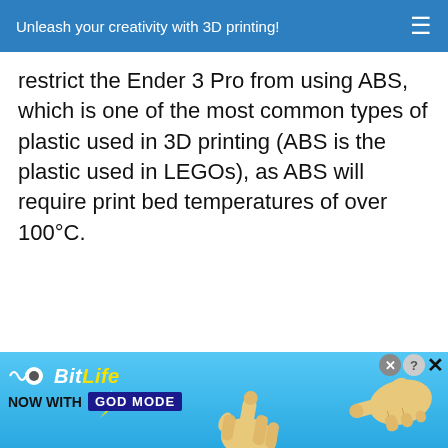Unleash your creativity with 3D printing!
restrict the Ender 3 Pro from using ABS, which is one of the most common types of plastic used in 3D printing (ABS is the plastic used in LEGOs), as ABS will require print bed temperatures of over 100°C.
[Figure (screenshot): BitLife advertisement banner — 'NOW WITH GOD MODE' with two illustrated hands pointing, close and question mark buttons in top right corner. Light blue background.]